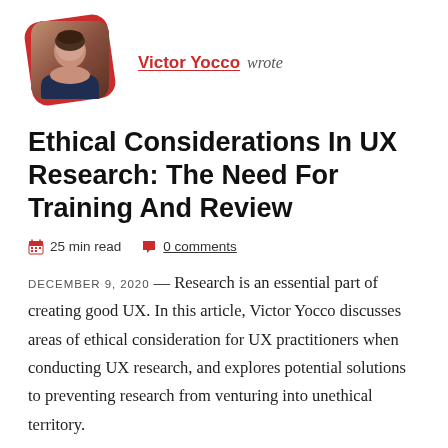[Figure (photo): Author photo of Victor Yocco, a man in a dark blue shirt, displayed in a rounded square with a red rotated background frame]
Victor Yocco wrote
Ethical Considerations In UX Research: The Need For Training And Review
25 min read   0 comments
DECEMBER 9, 2020 — Research is an essential part of creating good UX. In this article, Victor Yocco discusses areas of ethical consideration for UX practitioners when conducting UX research, and explores potential solutions to preventing research from venturing into unethical territory.